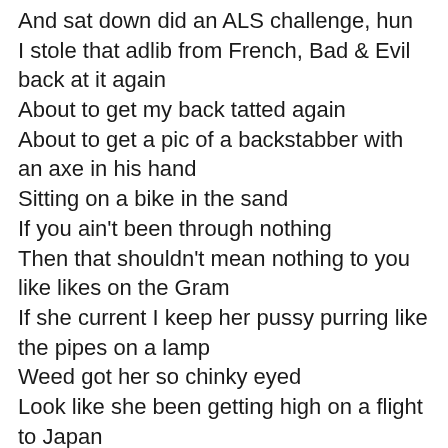And sat down did an ALS challenge, hun
I stole that adlib from French, Bad & Evil back at it again
About to get my back tatted again
About to get a pic of a backstabber with an axe in his hand
Sitting on a bike in the sand
If you ain't been through nothing
Then that shouldn't mean nothing to you like likes on the Gram
If she current I keep her pussy purring like the pipes on a lamp
Weed got her so chinky eyed
Look like she been getting high on a flight to Japan
I keep my jewelry on while I'm fucking
Sound like I'm shaking up dice in a can
Listen, though this ain't Christmas I make you